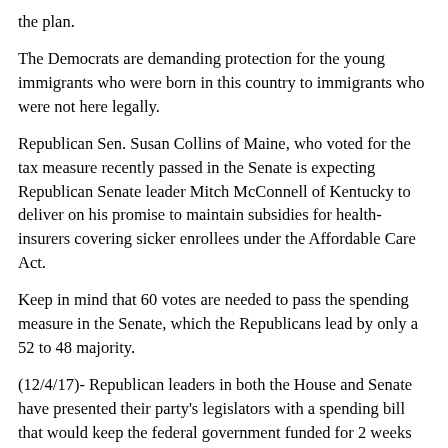the plan.
The Democrats are demanding protection for the young immigrants who were born in this country to immigrants who were not here legally.
Republican Sen. Susan Collins of Maine, who voted for the tax measure recently passed in the Senate is expecting Republican Senate leader Mitch McConnell of Kentucky to deliver on his promise to maintain subsidies for health-insurers covering sicker enrollees under the Affordable Care Act.
Keep in mind that 60 votes are needed to pass the spending measure in the Senate, which the Republicans lead by only a 52 to 48 majority.
(12/4/17)- Republican leaders in both the House and Senate have presented their party's legislators with a spending bill that would keep the federal government funded for 2 weeks past the present deadline of 12:01 a.m. on December 9, but conservative members of both houses are refusing to go along with the extension to December 22.
The conservatives fear some of the measures that will be attached to the extension. The Senate requires 60 votes to approve spending legislation, so the 52 Republicans in the Senate will need some